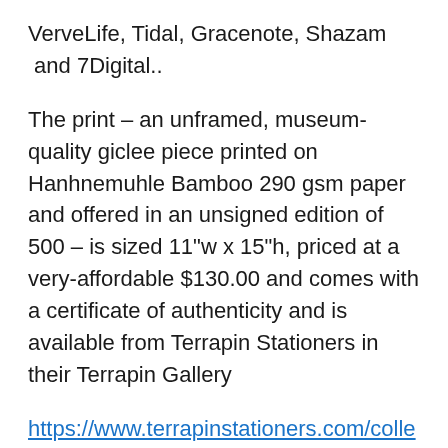VerveLife, Tidal, Gracenote, Shazam  and 7Digital..
The print – an unframed, museum-quality giclee piece printed on Hanhnemuhle Bamboo 290 gsm paper and offered in an unsigned edition of 500 – is sized 11"w x 15"h, priced at a very-affordable $130.00 and comes with a certificate of authenticity and is available from Terrapin Stationers in their Terrapin Gallery
https://www.terrapinstationers.com/collections/terrapin-gallery/products/terrapin-gallery-and-jerry-garcia-music-arts-present-ripple-unsigned
A portion of proceeds from these sales support ocean conservation (Mr. Garcia was a strong proponent of saving the coral reefs and even shared these beliefs as he testified before a conservation committee for the State of